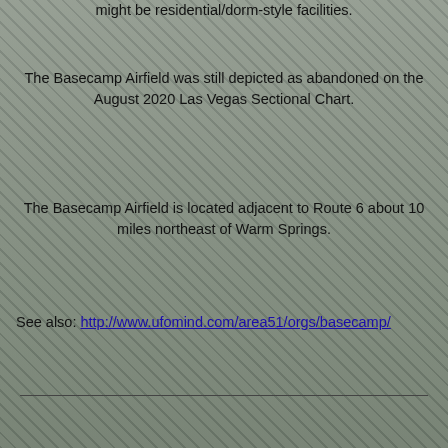might be residential/dorm-style facilities.
The Basecamp Airfield was still depicted as abandoned on the August 2020 Las Vegas Sectional Chart.
The Basecamp Airfield is located adjacent to Route 6 about 10 miles northeast of Warm Springs.
See also: http://www.ufomind.com/area51/orgs/basecamp/